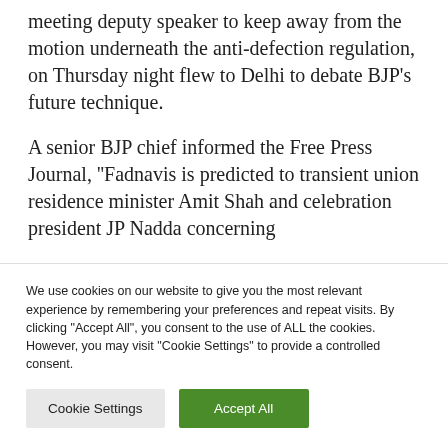meeting deputy speaker to keep away from the motion underneath the anti-defection regulation, on Thursday night flew to Delhi to debate BJP's future technique.
A senior BJP chief informed the Free Press Journal, ''Fadnavis is predicted to transient union residence minister Amit Shah and celebration president JP Nadda concerning
We use cookies on our website to give you the most relevant experience by remembering your preferences and repeat visits. By clicking "Accept All", you consent to the use of ALL the cookies. However, you may visit "Cookie Settings" to provide a controlled consent.